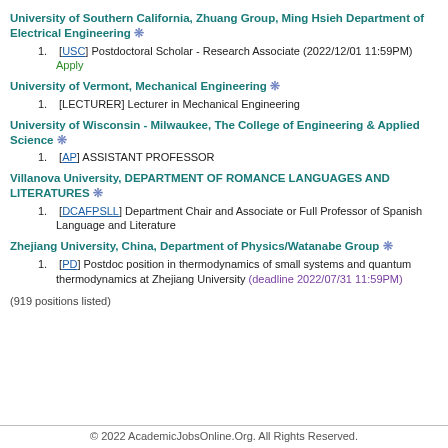University of Southern California, Zhuang Group, Ming Hsieh Department of Electrical Engineering ❊
1. [USC] Postdoctoral Scholar - Research Associate (2022/12/01 11:59PM)   Apply
University of Vermont, Mechanical Engineering ❊
1. [LECTURER] Lecturer in Mechanical Engineering
University of Wisconsin - Milwaukee, The College of Engineering & Applied Science ❊
1. [AP] ASSISTANT PROFESSOR
Villanova University, DEPARTMENT OF ROMANCE LANGUAGES AND LITERATURES ❊
1. [DCAFPSLL] Department Chair and Associate or Full Professor of Spanish Language and Literature
Zhejiang University, China, Department of Physics/Watanabe Group ❊
1. [PD] Postdoc position in thermodynamics of small systems and quantum thermodynamics at Zhejiang University (deadline 2022/07/31 11:59PM)
(919 positions listed)
© 2022 AcademicJobsOnline.Org. All Rights Reserved.